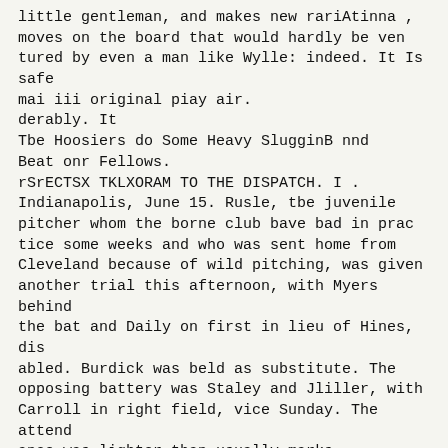little gentleman, and makes new rariAtinna , moves on the board that would hardly be ven tured by even a man like Wylle: indeed. It Is safe mai iii original piay air.
derably. It
Tbe Hoosiers do Some Heavy SlugginB nnd Beat onr Fellows.
rSrECTSX TKLXORAM TO THE DISPATCH. I .
Indianapolis, June 15. Rusle, tbe juvenile pitcher whom the borne club bave bad in prac tice some weeks and who was sent home from Cleveland because of wild pitching, was given another trial this afternoon, with Myers behind the bat and Daily on first in lieu of Hines, dis abled. Burdick was beld as substitute. The opposing battery was Staley and Jliller, with Carroll in right field, vice Sunday. The attend ance was lighter than usually marks Saturday's games. But Rusle's friends were out in force, determined the youngster should bave a good show. Rusie proved himself remarkable. He is almost an amateur, and although he made blunders and let in a costly home run, yet his work partakes somewhat of the phenomenal.